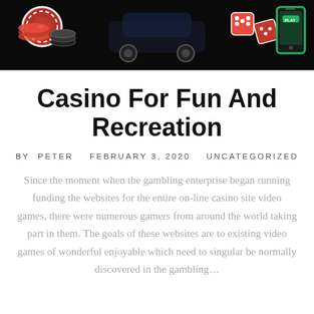[Figure (illustration): Dark casino-themed banner with casino chips, dice, a car, a mobile phone, and text 'SUPPORT ANDROID & IPHONE TANPA DOWNLOAD!' in white bold letters on black background.]
Casino For Fun And Recreation
BY PETER   FEBRUARY 3, 2020   UNCATEGORIZED
Since the moment when the gambling enterprise began running funding the websites for the entire on-line casino site video games, there were numerous gamers from around the world taking part in them. The goals of these websites are to existing video games of wonderful enjoyable which need to singular be normally discovered in the gambling...